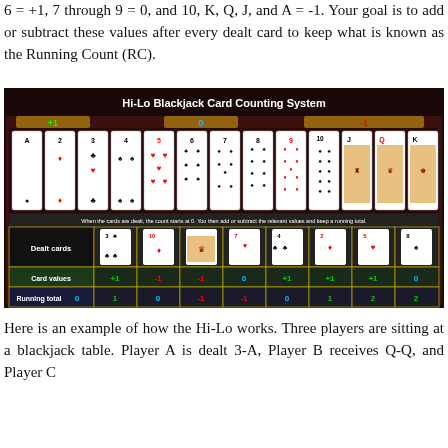6 = +1, 7 through 9 = 0, and 10, K, Q, J, and A = -1. Your goal is to add or subtract these values after every dealt card to keep what is known as the Running Count (RC).
[Figure (infographic): Hi-Lo Blackjack Card Counting System infographic showing playing cards grouped with +1, 0, -1 values, and a table below showing dealt cards with card values (+1, -1, -1, 0, +1, +1, +1, 0) and running totals (0, 1, 0, -1, -1, 0, 1, 2, 2).]
Here is an example of how the Hi-Lo works. Three players are sitting at a blackjack table. Player A is dealt 3-A, Player B receives Q-Q, and Player C